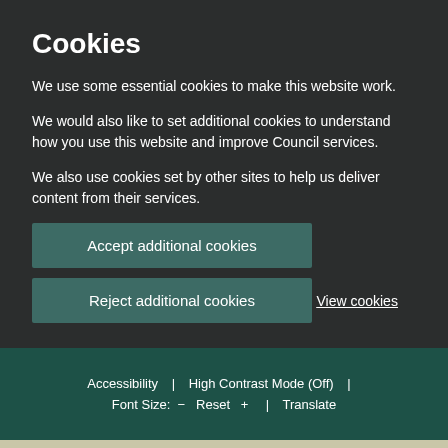Cookies
We use some essential cookies to make this website work.
We would also like to set additional cookies to understand how you use this website and improve Council services.
We also use cookies set by other sites to help us deliver content from their services.
Accept additional cookies
Reject additional cookies
View cookies
Accessibility | High Contrast Mode (Off) | Font Size: − Reset + | Translate